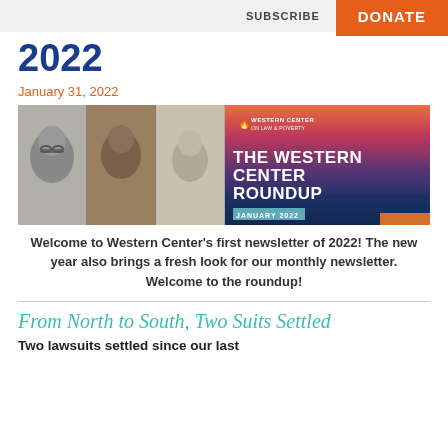SUBSCRIBE   DONATE
2022
January 31, 2022
[Figure (photo): Banner image for The Western Center Roundup newsletter, January 2022. Left side shows three black-and-white portrait panels of diverse individuals. Right side shows a sunset over water with the Western Center on Law & Poverty logo and text 'THE WESTERN CENTER ROUNDUP' and 'JANUARY 2022'.]
Welcome to Western Center's first newsletter of 2022! The new year also brings a fresh look for our monthly newsletter. Welcome to the roundup!
From North to South, Two Suits Settled
Two lawsuits settled since our last